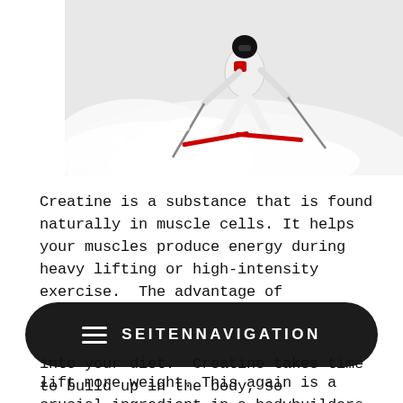[Figure (photo): A skier in a white and red suit carving aggressively through deep powder snow, spraying snow, holding ski poles, on a snowy slope.]
Creatine is a substance that is found naturally in muscle cells. It helps your muscles produce energy during heavy lifting or high-intensity exercise. The advantage of supplementing with this, following extensive research is that it allows athletes to produce more power and lift more weight. This again is a crucial ingredient in a bodybuilders arsenal but plays its part in any athletes supplement regime. A skier or boarder can benefit greatly from this food supplement when doing any form of explosive and intense work in the gym. Think leg press, squats or deadlift, so when preparing for your next season
≡ SEITENNAVIGATION
into your diet. Creatine takes time to build up in the body, so